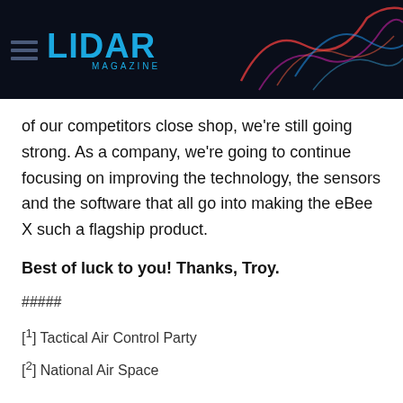LIDAR MAGAZINE
of our competitors close shop, we're still going strong. As a company, we're going to continue focusing on improving the technology, the sensors and the software that all go into making the eBee X such a flagship product.
Best of luck to you! Thanks, Troy.
#####
[1] Tactical Air Control Party
[2] National Air Space